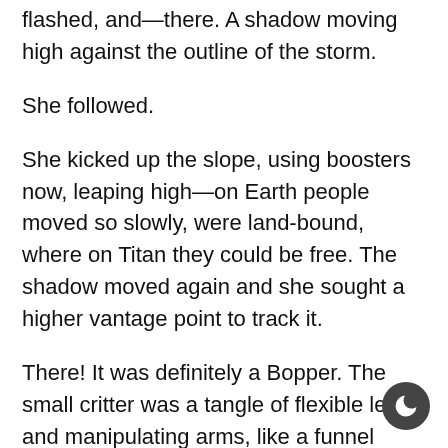flashed, and—there. A shadow moving high against the outline of the storm.
She followed.
She kicked up the slope, using boosters now, leaping high—on Earth people moved so slowly, were land-bound, where on Titan they could be free. The shadow moved again and she sought a higher vantage point to track it.
There! It was definitely a Bopper. The small critter was a tangle of flexible legs and manipulating arms, like a funnel weaver or a hobo spider on Earth, but made of spun polymers. The Boppers really thrived next to the Kraken Sea, its rich liquid hydrocarbons ideal both for fueling the Boppers with an endless supply of energy and the environment